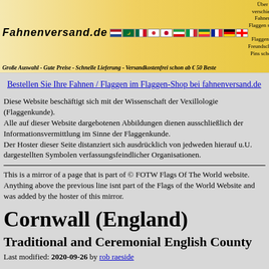[Figure (screenshot): Fahnenversand.de banner header with logo, flag icons, and promotional text about flags and pins]
Bestellen Sie Ihre Fahnen / Flaggen im Flaggen-Shop bei fahnenversand.de
Diese Website beschäftigt sich mit der Wissenschaft der Vexillologie (Flaggenkunde).
Alle auf dieser Website dargebotenen Abbildungen dienen ausschließlich der Informationsvermittlung im Sinne der Flaggenkunde.
Der Hoster dieser Seite distanziert sich ausdrücklich von jedweden hierauf u.U. dargestellten Symbolen verfassungsfeindlicher Organisationen.
This is a mirror of a page that is part of © FOTW Flags Of The World website. Anything above the previous line isnt part of the Flags of the World Website and was added by the hoster of this mirror.
Cornwall (England)
Traditional and Ceremonial English County
Last modified: 2020-09-26 by rob raeside